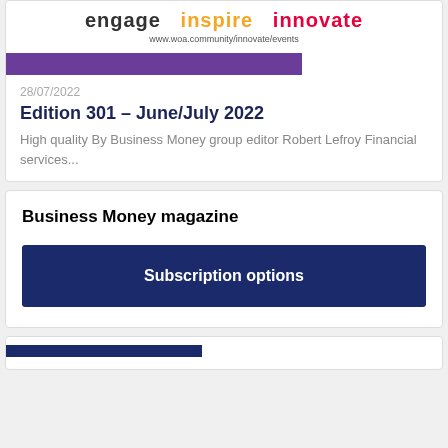[Figure (logo): Logo with text: engage inspire innovate and URL www.woa.community/innovate/events]
28/07/2022
Edition 301 – June/July 2022
High quality By Business Money group editor Robert Lefroy Financial services...
Business Money magazine
Subscription options